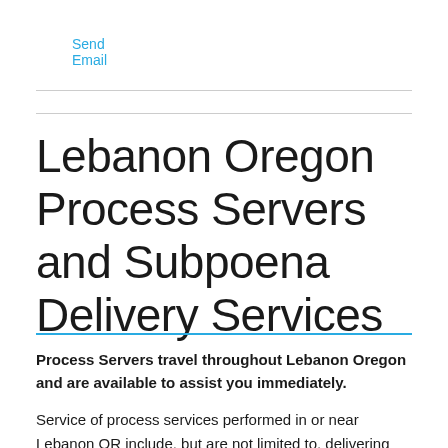Send Email
Lebanon Oregon Process Servers and Subpoena Delivery Services
Process Servers travel throughout Lebanon Oregon and are available to assist you immediately.
Service of process services performed in or near Lebanon OR include, but are not limited to, delivering subpoenas, demand letters, orders, notifications, and serving lawsuits to people and